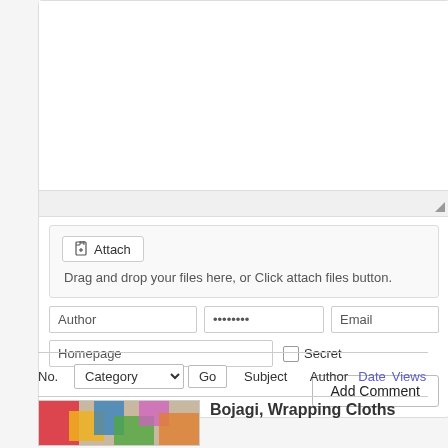[Figure (screenshot): Comment form with textarea (partially visible), attach area, author/password/email/homepage fields, Secret checkbox, and Add Comment button]
| No. | Category |  | Subject | Author | Date | Views |
| --- | --- | --- | --- | --- | --- | --- |
Bojagi, Wrapping Cloths